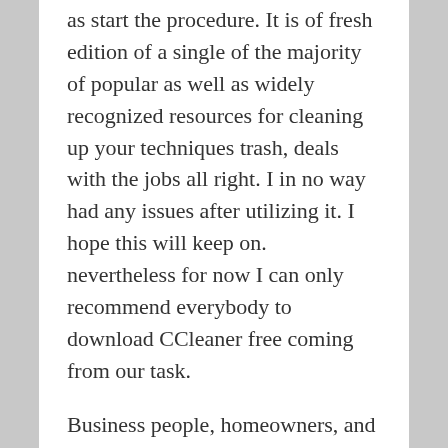as start the procedure. It is of fresh edition of a single of the majority of popular as well as widely recognized resources for cleaning up your techniques trash, deals with the jobs all right. I in no way had any issues after utilizing it. I hope this will keep on. nevertheless for now I can only recommend everybody to download CCleaner free coming from our task.
Business people, homeowners, and users of mobile phones will find this website to be useful. By doing so, we can get rid of all unnecessary or temporary information. A computer registry file is generated through this software to remove computer files from your computer. Your PC can be enhanced by this system. It allows you to